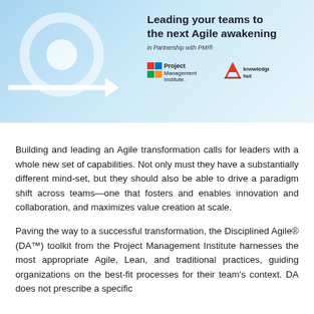[Figure (illustration): Banner image with light blue gradient background, circular arrow graphic on left, and title text with PMI and Knowledge Hut logos on right]
Building and leading an Agile transformation calls for leaders with a whole new set of capabilities. Not only must they have a substantially different mind-set, but they should also be able to drive a paradigm shift across teams—one that fosters and enables innovation and collaboration, and maximizes value creation at scale.
Paving the way to a successful transformation, the Disciplined Agile® (DA™) toolkit from the Project Management Institute harnesses the most appropriate Agile, Lean, and traditional practices, guiding organizations on the best-fit processes for their team's context. DA does not prescribe a specific